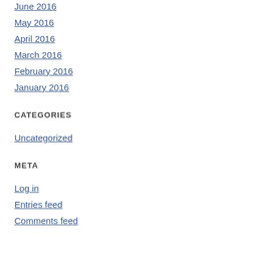June 2016
May 2016
April 2016
March 2016
February 2016
January 2016
CATEGORIES
Uncategorized
META
Log in
Entries feed
Comments feed